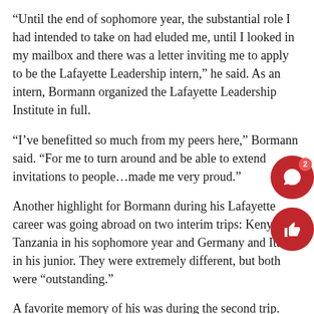“Until the end of sophomore year, the substantial role I had intended to take on had eluded me, until I looked in my mailbox and there was a letter inviting me to apply to be the Lafayette Leadership intern,” he said. As an intern, Bormann organized the Lafayette Leadership Institute in full.
“I’ve benefitted so much from my peers here,” Bormann said. “For me to turn around and be able to extend invitations to people…made me very proud.”
Another highlight for Bormann during his Lafayette career was going abroad on two interim trips: Kenya and Tanzania in his sophomore year and Germany and Italy in his junior. They were extremely different, but both were “outstanding.”
A favorite memory of his was during the second trip. After a group dinner out in Rome, the group dwindled down until only Bormann and the professor of the trip, Dr. Dubischar, were left.
“He confessed to me that he didn’t know much about football,” Bormann said. “So we sat there and I drew plays on a napkin for him